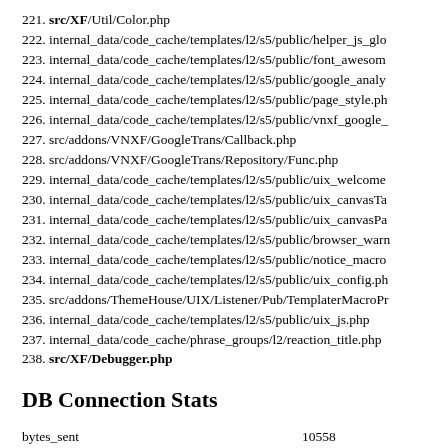221. src/XF/Util/Color.php
222. internal_data/code_cache/templates/l2/s5/public/helper_js_glo
223. internal_data/code_cache/templates/l2/s5/public/font_awesom
224. internal_data/code_cache/templates/l2/s5/public/google_analy
225. internal_data/code_cache/templates/l2/s5/public/page_style.ph
226. internal_data/code_cache/templates/l2/s5/public/vnxf_google_
227. src/addons/VNXF/GoogleTrans/Callback.php
228. src/addons/VNXF/GoogleTrans/Repository/Func.php
229. internal_data/code_cache/templates/l2/s5/public/uix_welcome
230. internal_data/code_cache/templates/l2/s5/public/uix_canvasTa
231. internal_data/code_cache/templates/l2/s5/public/uix_canvasPa
232. internal_data/code_cache/templates/l2/s5/public/browser_warn
233. internal_data/code_cache/templates/l2/s5/public/notice_macro
234. internal_data/code_cache/templates/l2/s5/public/uix_config.ph
235. src/addons/ThemeHouse/UIX/Listener/Pub/TemplaterMacroPr
236. internal_data/code_cache/templates/l2/s5/public/uix_js.php
237. internal_data/code_cache/phrase_groups/l2/reaction_title.php
238. src/XF/Debugger.php
DB Connection Stats
|  |  |
| --- | --- |
| bytes_sent | 10558 |
| bytes_received | 1005016 |
| packets_sent | 178 |